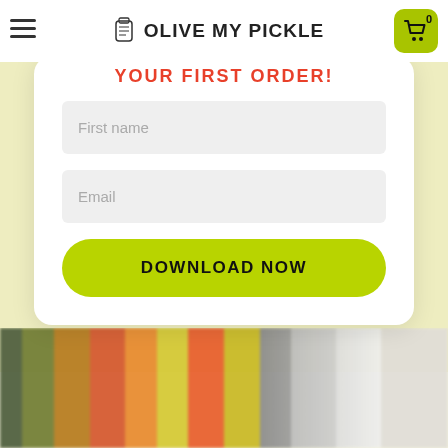OLIVE MY PICKLE
YOUR FIRST ORDER!
First name
Email
DOWNLOAD NOW
[Figure (photo): Blurred background photo of colorful pickle jars in green, orange, red, yellow colors on a table]